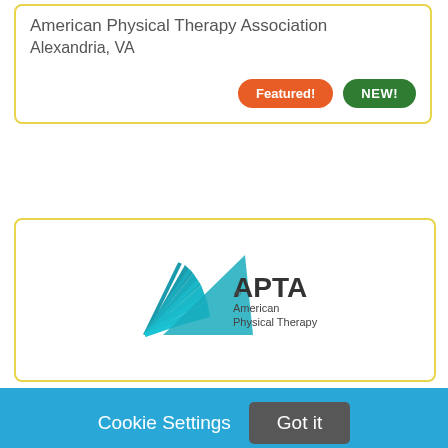American Physical Therapy Association
Alexandria, VA
Featured!
NEW!
[Figure (logo): APTA American Physical Therapy logo with teal triangular swoosh design]
Cookie Settings
Got it
We use cookies so that we can remember you and understand how you use our site. If you do not agree with our use of cookies, please change the current settings found in our Cookie Policy. Otherwise, you agree to the use of the cookies as they are currently set.